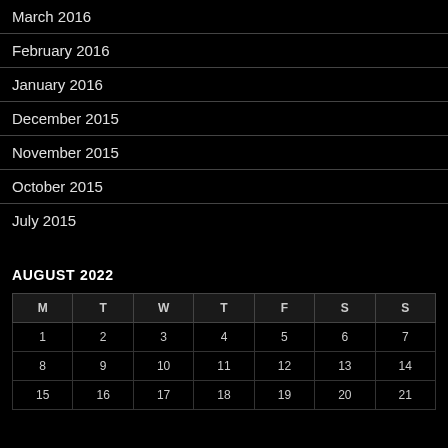March 2016
February 2016
January 2016
December 2015
November 2015
October 2015
July 2015
AUGUST 2022
| M | T | W | T | F | S | S |
| --- | --- | --- | --- | --- | --- | --- |
| 1 | 2 | 3 | 4 | 5 | 6 | 7 |
| 8 | 9 | 10 | 11 | 12 | 13 | 14 |
| 15 | 16 | 17 | 18 | 19 | 20 | 21 |